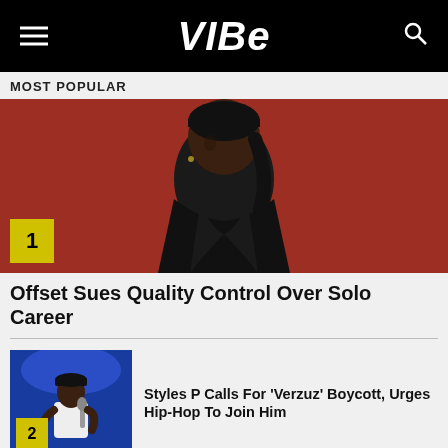VIBE
MOST POPULAR
[Figure (photo): Man wearing black durag and black leather jacket against red background, numbered badge '1' in bottom left corner]
Offset Sues Quality Control Over Solo Career
[Figure (photo): Man in white shirt performing on stage against blue background, numbered badge '2' in bottom left corner]
Styles P Calls For 'Verzuz' Boycott, Urges Hip-Hop To Join Him